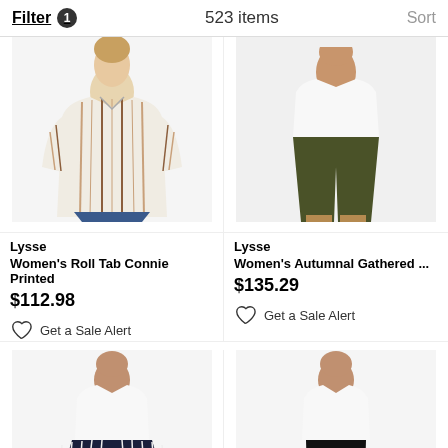Filter 1   523 items   Sort
[Figure (photo): Woman wearing a white and brown vertical striped long-sleeve button-up shirt with rolled cuffs, paired with blue jeans]
Lysse
Women's Roll Tab Connie Printed
$112.98
Get a Sale Alert
[Figure (photo): Woman wearing dark olive/army green slim-fit pants with strappy sandals and a white top]
Lysse
Women's Autumnal Gathered ...
$135.29
Get a Sale Alert
[Figure (photo): Woman wearing wide-leg navy blue and white vertical striped trousers with a white top]
[Figure (photo): Woman wearing black slim-fit pants with a white top]